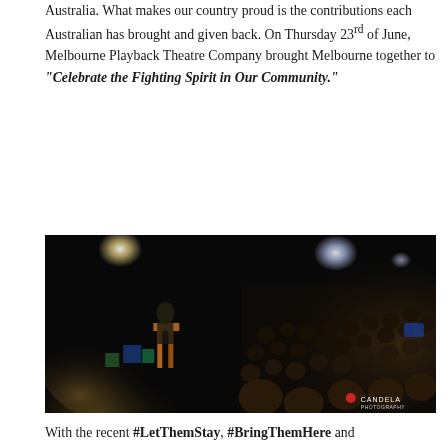Australia. What makes our country proud is the contributions each Australian has brought and given back. On Thursday 23rd of June, Melbourne Playback Theatre Company brought Melbourne together to "Celebrate the Fighting Spirit in Our Community."
[Figure (photo): A dark theatre scene showing a speaker at a lit podium on the left side of the stage, with a large audience seated in the right portion of the image. Stage lighting creates dramatic contrast against the dark background. A Candela Photography watermark appears in the bottom right corner.]
With the recent #LetThemStay, #BringThemHere and